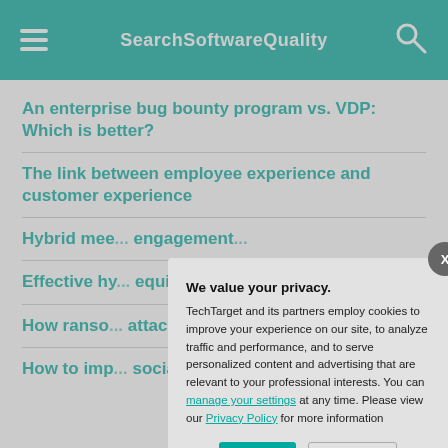SearchSoftwareQuality
An enterprise bug bounty program vs. VDP: Which is better?
The link between employee experience and customer experience
Hybrid mee... engagement...
Effective hy... equity, bes...
How ranso... attacks
How to imp... social med...
We value your privacy. TechTarget and its partners employ cookies to improve your experience on our site, to analyze traffic and performance, and to serve personalized content and advertising that are relevant to your professional interests. You can manage your settings at any time. Please view our Privacy Policy for more information